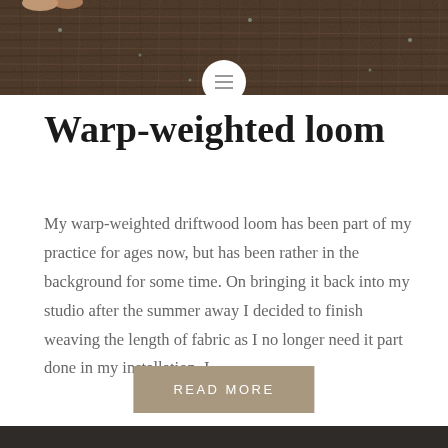[Figure (photo): Close-up photograph of dark brown woven textile/fabric texture, appears to be the top banner image of a blog post page about a warp-weighted loom.]
Warp-weighted loom
My warp-weighted driftwood loom has been part of my practice for ages now, but has been rather in the background for some time. On bringing it back into my studio after the summer away I decided to finish weaving the length of fabric as I no longer need it part done in my installation. I…
READ MORE